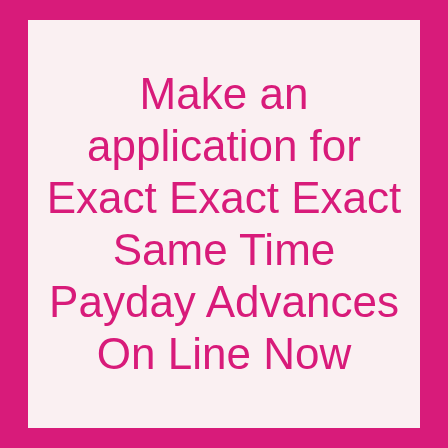Make an application for Exact Exact Exact Same Time Payday Advances On Line Now